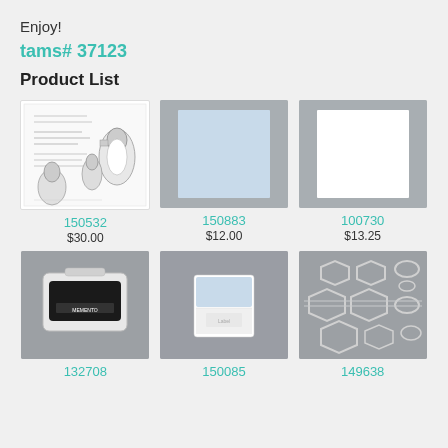Enjoy!
tams# 37123
Product List
[Figure (photo): Stamp set with penguin illustrations and handwritten-style sentiments]
[Figure (photo): Light blue cardstock sheet on gray background]
[Figure (photo): White cardstock sheet on gray background]
150532
$30.00
150883
$12.00
100730
$13.25
[Figure (photo): Black ink pad (Memento brand) on gray background]
[Figure (photo): Small light blue item on gray-purple background]
[Figure (photo): White hexagon die cuts on gray background]
132708
150085
149638